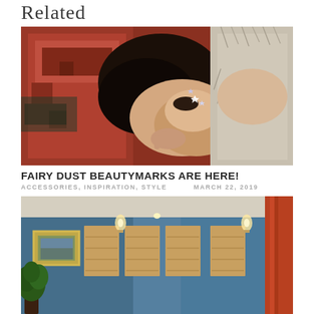Related
[Figure (photo): Woman with dark hair lying down on a colorful rug, wearing glitter/star beauty marks near her eye, with fur blanket around her]
FAIRY DUST BEAUTYMARKS ARE HERE!
ACCESSORIES, INSPIRATION, STYLE   MARCH 22, 2019
[Figure (photo): Interior room with blue walls, orange curtains, wood panel wall art, decorative sconces, a gold-framed painting, and a plant]